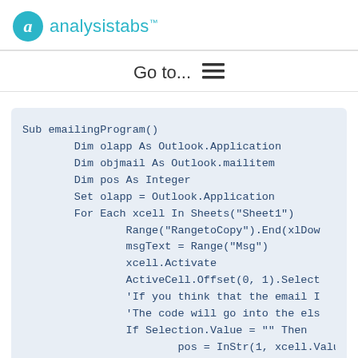analysistabs™
Go to...  ≡
Sub emailingProgram()
        Dim olapp As Outlook.Application
        Dim objmail As Outlook.mailitem
        Dim pos As Integer
        Set olapp = Outlook.Application
        For Each xcell In Sheets("Sheet1")
                Range("RangetoCopy").End(xlDow
                msgText = Range("Msg")
                xcell.Activate
                ActiveCell.Offset(0, 1).Select
                'If you think that the email I
                'The code will go into the els
                If Selection.Value = "" Then
                        pos = InStr(1, xcell.Value
                        Ename = Mid$(xcell.Value